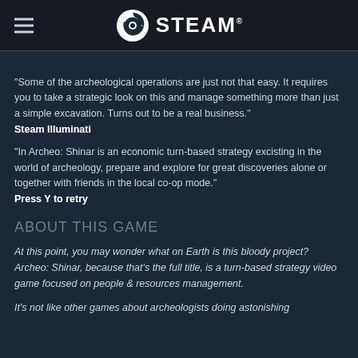STEAM
“Some of the archeological operations are just not that easy. It requires you to take a strategic look on this and manage something more than just a simple excavation. Turns out to be a real business.”
Steam Illuminati
“In Archeo: Shinar is an economic turn-based strategy excisting in the world of archeology, prepare and explore for great discoveries alone or together with friends in the local co-op mode.”
Press Y to retry
ABOUT THIS GAME
At this point, you may wonder what on Earth is this bloody project? Archeo: Shinar, because that’s the full title, is a turn-based strategy video game focused on people & resources management.
It’s not like other games about archeologists doing astonishing stuff in an instant, here everything’s like that. Not this…